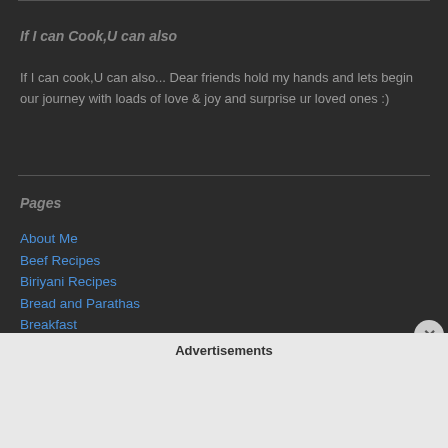If I can Cook,U can also
If I can cook,U can also... Dear friends hold my hands and lets begin our journey with loads of love & joy and surprise ur loved ones :)
Pages
About Me
Beef Recipes
Biriyani Recipes
Bread and Parathas
Breakfast
Cakes and Bakes
Chicken Dishes
Chinese Dishes
Advertisements